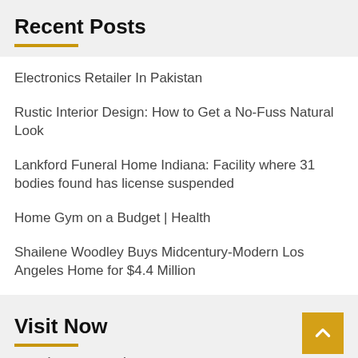Recent Posts
Electronics Retailer In Pakistan
Rustic Interior Design: How to Get a No-Fuss Natural Look
Lankford Funeral Home Indiana: Facility where 31 bodies found has license suspended
Home Gym on a Budget | Health
Shailene Woodley Buys Midcentury-Modern Los Angeles Home for $4.4 Million
Visit Now
Another example